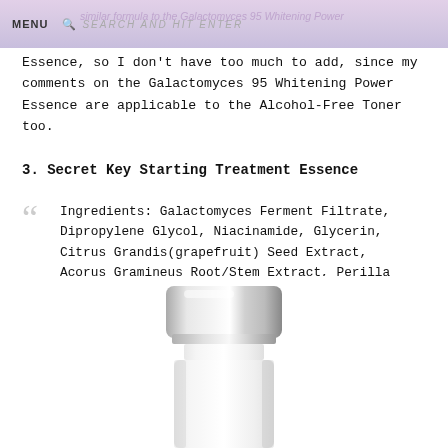MENU | SEARCH AND HIT ENTER
Essence, so I don't have too much to add, since my comments on the Galactomyces 95 Whitening Power Essence are applicable to the Alcohol-Free Toner too.
3. Secret Key Starting Treatment Essence
Ingredients: Galactomyces Ferment Filtrate, Dipropylene Glycol, Niacinamide, Glycerin, Citrus Grandis(grapefruit) Seed Extract, Acorus Gramineus Root/Stem Extract, Perilla Ocymoides Leaf Extract, Rosa Centifolia Flower Water
[Figure (photo): White skincare bottle with silver metallic cap, partially visible at bottom of page]